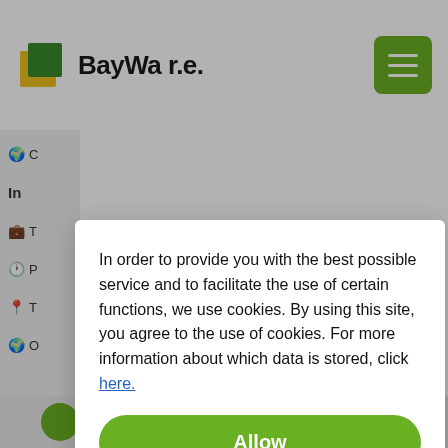[Figure (logo): BayWa r.e. logo with green and yellow square icon and bold text 'BayWa r.e.']
[Figure (screenshot): Green hamburger menu button (three white horizontal lines on green rounded square background) in top right corner]
In order to provide you with the best possible service and to facilitate the use of certain functions, we use cookies. By using this site, you agree to the use of cookies. For more information about which data is stored, click here.